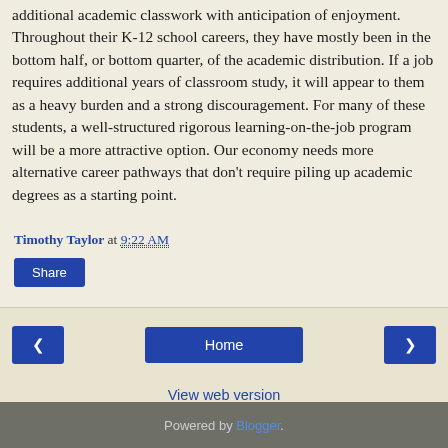additional academic classwork with anticipation of enjoyment. Throughout their K-12 school careers, they have mostly been in the bottom half, or bottom quarter, of the academic distribution. If a job requires additional years of classroom study, it will appear to them as a heavy burden and a strong discouragement. For many of these students, a well-structured rigorous learning-on-the-job program will be a more attractive option. Our economy needs more alternative career pathways that don't require piling up academic degrees as a starting point.
Timothy Taylor at 9:22 AM
Share
Home
View web version
Powered by Blogger.